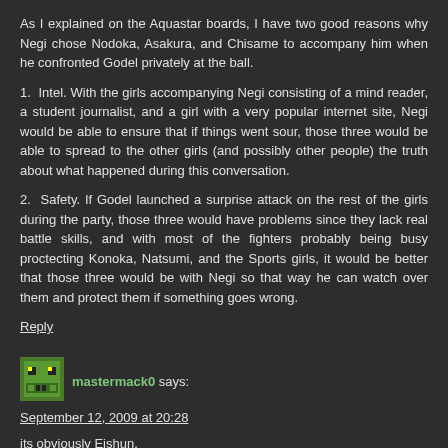As I explained on the Aquastar boards, I have two good reasons why Negi chose Nodoka, Asakura, and Chisame to accompany him when he confronted Godel privately at the ball.
1.  Intel. With the girls accompanying Negi consisting of a mind reader, a student journalist, and a girl with a very popular internet site, Negi would be able to ensure that if things went sour, those three would be able to spread to the other girls (and possibly other people) the truth about what happened during this conversation.
2.  Safety. If Godel launched a surprise attack on the rest of the girls during the party, those three would have problems since they lack real battle skills, and with most of the fighters probably being busy proctecting Konoka, Natsumi, and the Sports girls, it would be better that those three would be with Negi so that way he can watch over them and protect them if something goes wrong.
Reply
[Figure (illustration): Green pixel art avatar icon resembling a small creature/robot face]
mastermack0 says:
September 12, 2009 at 20:28
its obviously Eishun.